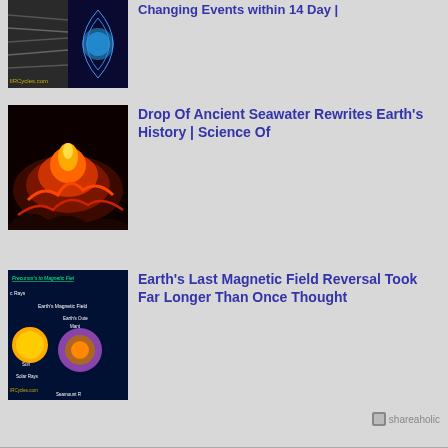[Figure (photo): Earth with magnetic field lines visualization, split image showing planet and field lines in blue]
Changing Events within 14 Day |
[Figure (photo): Glowing lava or volcanic eruption with bright orange and red tones]
Drop Of Ancient Seawater Rewrites Earth's History | Science Of
[Figure (illustration): Diagram showing Precursor's to Magnetic Field, Earth's Magnetic Field, Earth's Outer, Mantle, Sun, Solar Rays, Seamount R labels]
Earth's Last Magnetic Field Reversal Took Far Longer Than Once Thought
shareaholic